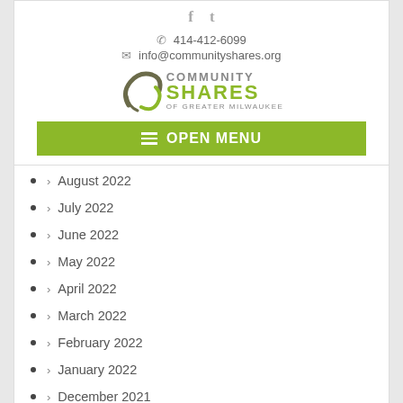[Figure (logo): Community Shares of Greater Milwaukee logo with social icons, phone number, email, and open menu button]
> August 2022
> July 2022
> June 2022
> May 2022
> April 2022
> March 2022
> February 2022
> January 2022
> December 2021
> November 2021